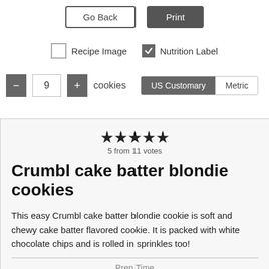Go Back | Print
Recipe Image  Nutrition Label
- 9 + cookies   US Customary  Metric
★★★★★
5 from 11 votes
Crumbl cake batter blondie cookies
This easy Crumbl cake batter blondie cookie is soft and chewy cake batter flavored cookie. It is packed with white chocolate chips and is rolled in sprinkles too!
Prep Time